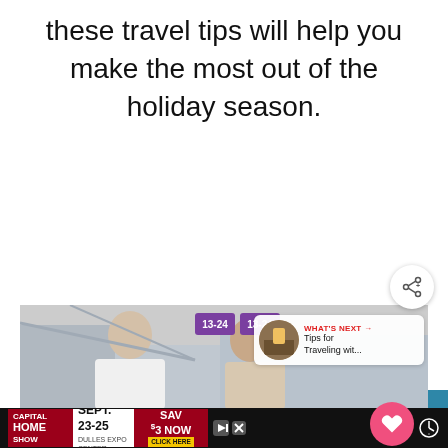these travel tips will help you make the most out of the holiday season.
[Figure (screenshot): Blue banner with text 'Baby Packing Lists' and heart/share action buttons on the right]
[Figure (photo): Photo of a man and woman smiling at an airport, with purple gate signs showing '13-24', and a 'What's Next' thumbnail overlay for 'Tips for Traveling wit...']
[Figure (infographic): Advertisement banner: Capital Home Show, Sept. 23-25, Dulles Expo Center, Save $3 Now, Click Here]